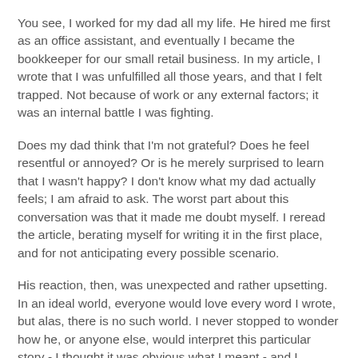You see, I worked for my dad all my life. He hired me first as an office assistant, and eventually I became the bookkeeper for our small retail business. In my article, I wrote that I was unfulfilled all those years, and that I felt trapped. Not because of work or any external factors; it was an internal battle I was fighting.
Does my dad think that I'm not grateful? Does he feel resentful or annoyed? Or is he merely surprised to learn that I wasn't happy? I don't know what my dad actually feels; I am afraid to ask. The worst part about this conversation was that it made me doubt myself. I reread the article, berating myself for writing it in the first place, and for not anticipating every possible scenario.
His reaction, then, was unexpected and rather upsetting. In an ideal world, everyone would love every word I wrote, but alas, there is no such world. I never stopped to wonder how he, or anyone else, would interpret this particular story - I thought it was obvious what I meant - and I thought wrong. As with all experiences, good and bad, I walked away the wiser for it. I know that other writers must have similar